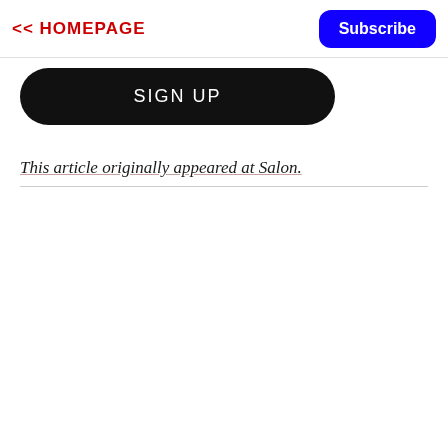<< HOMEPAGE
Subscribe
SIGN UP
This article originally appeared at Salon.